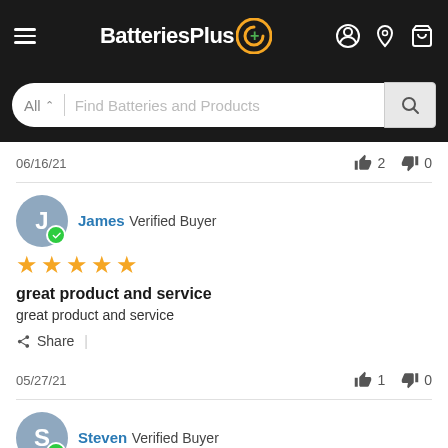[Figure (screenshot): BatteriesPlus website navigation header with hamburger menu, logo, and icons for account, location, and cart]
[Figure (screenshot): Search bar with All dropdown and Find Batteries and Products placeholder text, and search button]
06/16/21
👍 2   👎 0
James Verified Buyer
[Figure (other): 5 orange stars rating]
great product and service
great product and service
Share |
05/27/21
👍 1   👎 0
Steven Verified Buyer
[Figure (other): 5 orange stars rating (partially shown)]